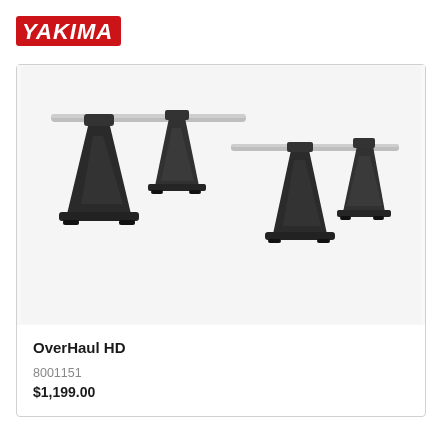[Figure (logo): YAKIMA brand logo in red bold italic text]
[Figure (photo): Yakima OverHaul HD truck bed rack system showing four black metal upright supports with silver crossbars, photographed on white background]
OverHaul HD
8001151
$1,199.00